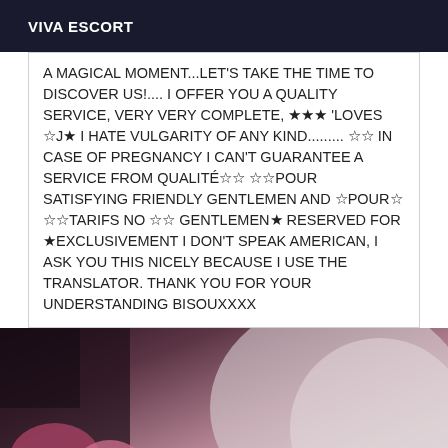VIVA ESCORT
A MAGICAL MOMENT...LET'S TAKE THE TIME TO DISCOVER US!.... I OFFER YOU A QUALITY SERVICE, VERY VERY COMPLETE, ★★★ 'LOVES ☆J★ I HATE VULGARITY OF ANY KIND......... ☆☆ IN CASE OF PREGNANCY I CAN'T GUARANTEE A SERVICE FROM QUALITÉ☆☆ ☆☆POUR SATISFYING FRIENDLY GENTLEMEN AND ☆POUR☆ ☆☆TARIFS NO ☆☆ GENTLEMEN★ RESERVED FOR ★EXCLUSIVEMENT I DON'T SPEAK AMERICAN, I ASK YOU THIS NICELY BECAUSE I USE THE TRANSLATOR. THANK YOU FOR YOUR UNDERSTANDING BISOUXXXX
[Figure (photo): Blurry dark photo showing pink flowers against a light grey fabric background]